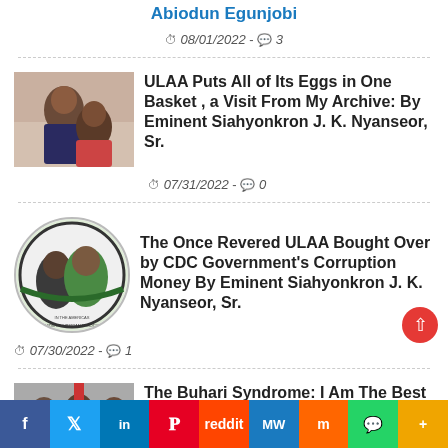Abiodun Egunjobi
08/01/2022 - 3
ULAA Puts All of Its Eggs in One Basket , a Visit From My Archive: By Eminent Siahyonkron J. K. Nyanseor, Sr.
07/31/2022 - 0
The Once Revered ULAA Bought Over by CDC Government's Corruption Money By Eminent Siahyonkron J. K. Nyanseor, Sr.
07/30/2022 - 1
The Buhari Syndrome: I Am The Best President Nigeria Ever Had -From